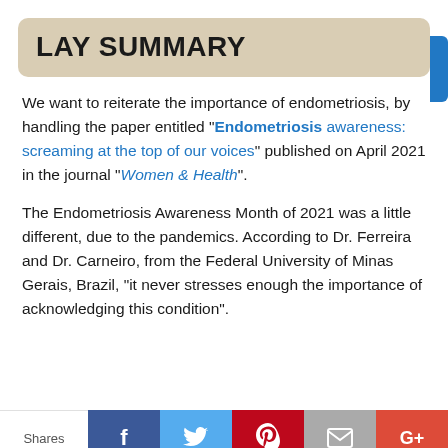LAY SUMMARY
We want to reiterate the importance of endometriosis, by handling the paper entitled "Endometriosis awareness: screaming at the top of our voices" published on April 2021 in the journal “Women & Health”.
The Endometriosis Awareness Month of 2021 was a little different, due to the pandemics. According to Dr. Ferreira and Dr. Carneiro, from the Federal University of Minas Gerais, Brazil, "it never stresses enough the importance of acknowledging this condition".
Shares | Facebook | Twitter | Pinterest | Email | Google+